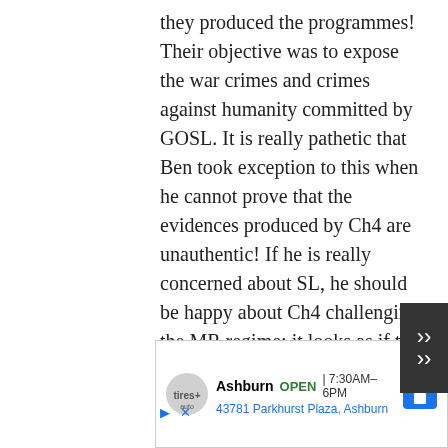they produced the programmes! Their objective was to expose the war crimes and crimes against humanity committed by GOSL. It is really pathetic that Ben took exception to this when he cannot prove that the evidences produced by Ch4 are unauthentic! If he is really concerned about SL, he should be happy about Ch4 challenging the MR regime; it looks as if the some good will come about resulting in
[Figure (other): Large bold X close button overlaid on the text area]
[Figure (other): Advertisement banner: Tires Plus Auto, Ashburn OPEN 7:30AM-6PM, 43781 Parkhurst Plaza, Ashburn, with navigation icon and scroll-up button]